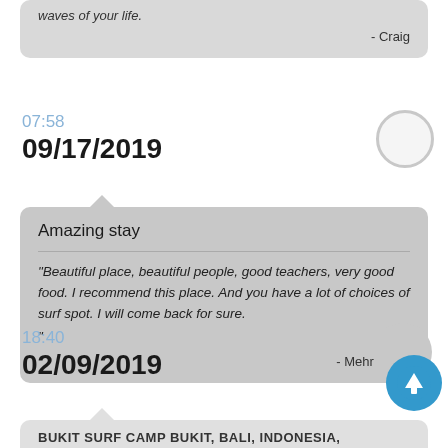waves of your life.
- Craig
07:58
09/17/2019
Amazing stay
"Beautiful place, beautiful people, good teachers, very good food. I recommend this place. And you have a lot of choices of surf spot. I will come back for sure. "
- Mehr Olivia
18:40
02/09/2019
BUKIT SURF CAMP BUKIT, BALI, INDONESIA, DECEMBER